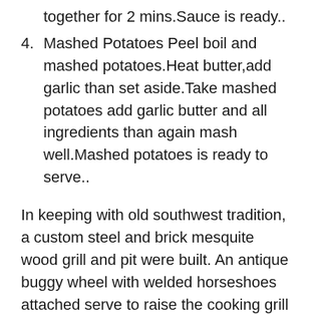together for 2 mins.Sauce is ready..
4. Mashed Potatoes Peel boil and mashed potatoes.Heat butter,add garlic than set aside.Take mashed potatoes add garlic butter and all ingredients than again mash well.Mashed potatoes is ready to serve..
In keeping with old southwest tradition, a custom steel and brick mesquite wood grill and pit were built. An antique buggy wheel with welded horseshoes attached serve to raise the cooking grill to appropriate levels above the smoky mesquite wood fire. The then owners decided to expand their provisions business to include a modest restaurant, and The Steak Out Restaurant and Saloon was born. The prices are reasonable and they know how to do a medium rare just right. At Arizona's our uncompromising standards make our quality unique.